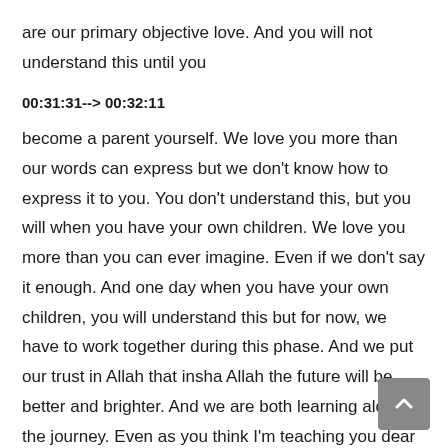are our primary objective love. And you will not understand this until you
00:31:31--> 00:32:11
become a parent yourself. We love you more than our words can express but we don't know how to express it to you. You don't understand this, but you will when you have your own children. We love you more than you can ever imagine. Even if we don't say it enough. And one day when you have your own children, you will understand this but for now, we have to work together during this phase. And we put our trust in Allah that insha Allah the future will be better and brighter. And we are both learning along the journey. Even as you think I'm teaching you dear son, dear daughter, you are teaching me so much about life and so much about parenting. And I